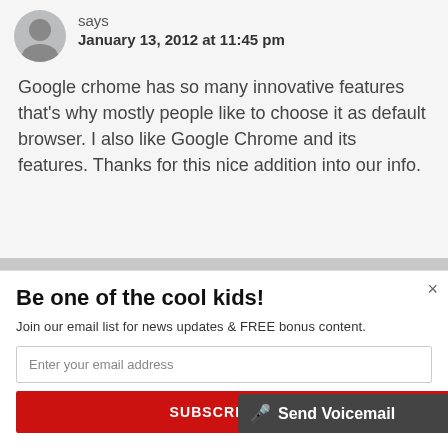says
January 13, 2012 at 11:45 pm
Google crhome has so many innovative features that's why mostly people like to choose it as default browser. I also like Google Chrome and its features. Thanks for this nice addition into our info.
Be one of the cool kids!
Join our email list for news updates & FREE bonus content.
Enter your email address
SUBSCRIBE NOW
Send Voicemail